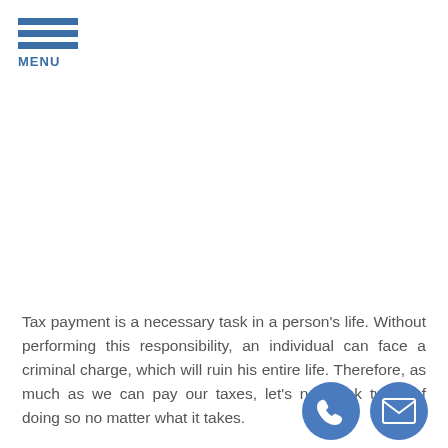[Figure (other): Hamburger menu icon with three horizontal blue bars and MENU label below]
Tax payment is a necessary task in a person's life. Without performing this responsibility, an individual can face a criminal charge, which will ruin his entire life. Therefore, as much as we can pay our taxes, let's not think twice of doing so no matter what it takes.
The Internal Revenue Service (IRS) is offering relief
[Figure (other): Two circular blue contact icons: a phone icon and an email/envelope icon]